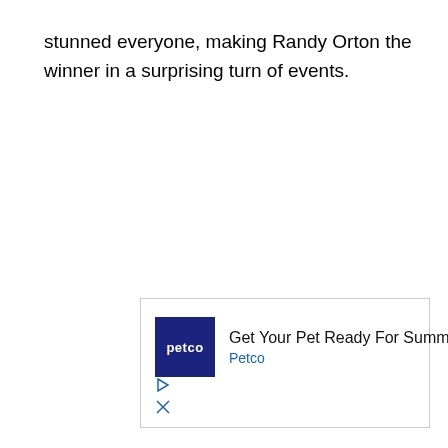stunned everyone, making Randy Orton the winner in a surprising turn of events.
[Figure (other): Petco advertisement banner: Petco logo on dark blue square, text 'Get Your Pet Ready For Summe', 'Petco', blue diamond arrow icon, small play and close icons at bottom left]